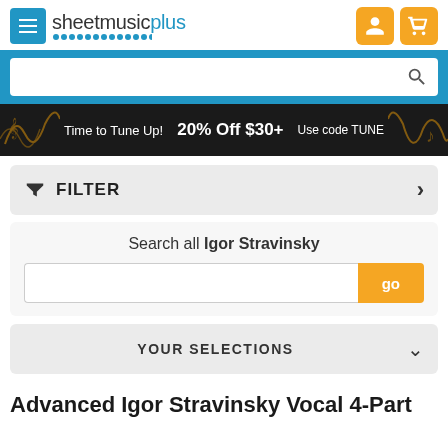sheetmusicplus
[Figure (screenshot): Search bar with magnifying glass icon on blue background]
[Figure (infographic): Promo banner: Time to Tune Up! 20% Off $30+ Use code TUNE]
FILTER
Search all Igor Stravinsky
YOUR SELECTIONS
Advanced Igor Stravinsky Vocal 4-Part